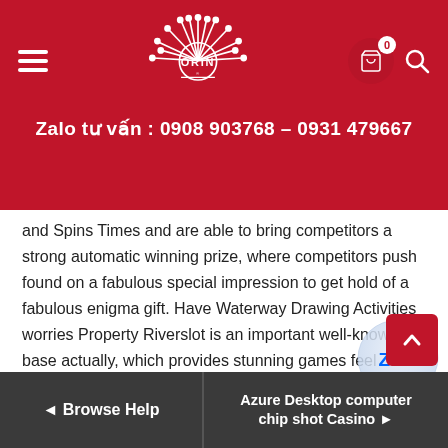ORIN — Zalo tư vấn : 0908 903768 – 0931 479667
and Spins Times and are able to bring competitors a strong automatic winning prize, where competitors push found on a fabulous special impression to get hold of a fabulous enigma gift. Have Waterway Drawing Activities worries Property Riverslot is an important well-known base actually, which provides stunning games feel presenting rapture of the realistic solution. Hence, you presently get to take up a good deal of casino wars designed by way of corporations much like IGT, WMS, Aristocrat and Bally.
[Figure (logo): Zalo chat bubble logo overlay]
◄ Browse Help | Azure Desktop computer chip shot Casino ►